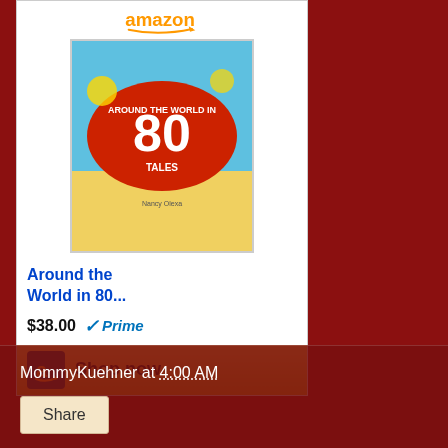[Figure (screenshot): Amazon product widget showing 'Around the World in 80...' book with price $38.00 and Prime badge, Shop now button]
Hope everyone has a great week....See you at our wrap up for Week 11!!!
[Figure (other): Pinterest Save button]
MommyKuehner at 4:00 AM
[Figure (other): Share button]